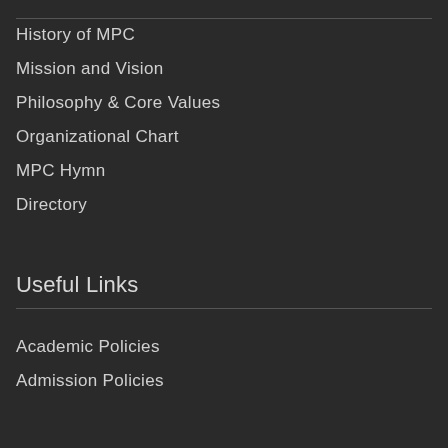History of MPC
Mission and Vision
Philosophy & Core Values
Organizational Chart
MPC Hymn
Directory
Useful Links
Academic Policies
Admission Policies